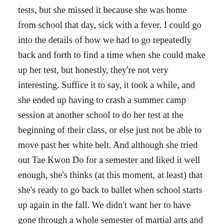tests, but she missed it because she was home from school that day, sick with a fever. I could go into the details of how we had to go repeatedly back and forth to find a time when she could make up her test, but honestly, they're not very interesting. Suffice it to say, it took a while, and she ended up having to crash a summer camp session at another school to do her test at the beginning of their class, or else just not be able to move past her white belt. And although she tried out Tae Kwon Do for a semester and liked it well enough, she's thinks (at this moment, at least) that she's ready to go back to ballet when school starts up again in the fall. We didn't want her to have gone through a whole semester of martial arts and not get her belt promotion (i.e., closure), so we made the